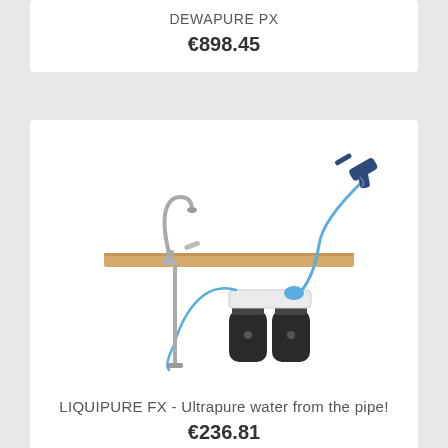DEWAPURE PX
€898.45
[Figure (photo): Water filtration system showing a countertop faucet connected via blue tubing to a dual-canister water filter unit mounted below a wooden shelf surface, with a spray gun attachment on top]
LIQUIPURE FX - Ultrapure water from the pipe!
€236.81